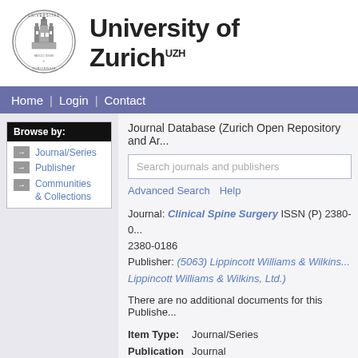[Figure (logo): University of Zurich circular seal/crest logo]
University of Zurich UZH
Home | Login | Contact
Browse by:
Journal/Series
Publisher
Communities & Collections
Journal Database (Zurich Open Repository and Ar...
Search journals and publishers
Advanced Search   Help
Journal: Clinical Spine Surgery ISSN (P) 2380-0... 2380-0186
Publisher: (5063) Lippincott Williams & Wilkins... Lippincott Williams & Wilkins, Ltd.)
There are no additional documents for this Publishe...
| Field | Value |
| --- | --- |
| Item Type: | Journal/Series |
| Publication Type: | Journal |